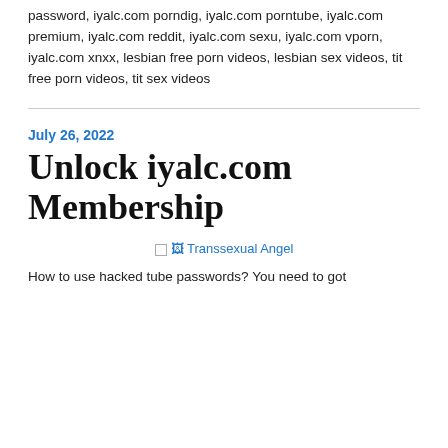iyalc.com login, iyalc.com members, iyalc.com password, iyalc.com porndig, iyalc.com porntube, iyalc.com premium, iyalc.com reddit, iyalc.com sexu, iyalc.com vporn, iyalc.com xnxx, lesbian free porn videos, lesbian sex videos, tit free porn videos, tit sex videos
July 26, 2022
Unlock iyalc.com Membership
[Figure (other): Image placeholder link labeled Transsexual Angel]
How to use hacked tube passwords? You need to got